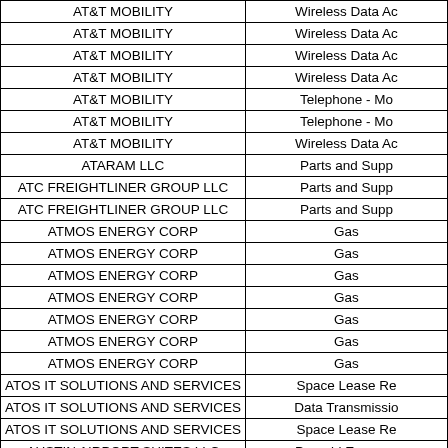| Vendor | Category |
| --- | --- |
| AT&T MOBILITY | Wireless Data Ac... |
| AT&T MOBILITY | Wireless Data Ac... |
| AT&T MOBILITY | Wireless Data Ac... |
| AT&T MOBILITY | Wireless Data Ac... |
| AT&T MOBILITY | Telephone - Mo... |
| AT&T MOBILITY | Telephone - Mo... |
| AT&T MOBILITY | Wireless Data Ac... |
| ATARAM LLC | Parts and Supp... |
| ATC FREIGHTLINER GROUP LLC | Parts and Supp... |
| ATC FREIGHTLINER GROUP LLC | Parts and Supp... |
| ATMOS ENERGY CORP | Gas |
| ATMOS ENERGY CORP | Gas |
| ATMOS ENERGY CORP | Gas |
| ATMOS ENERGY CORP | Gas |
| ATMOS ENERGY CORP | Gas |
| ATMOS ENERGY CORP | Gas |
| ATMOS ENERGY CORP | Gas |
| ATOS IT SOLUTIONS AND SERVICES INC | Space Lease Re... |
| ATOS IT SOLUTIONS AND SERVICES INC | Data Transmissio... |
| ATOS IT SOLUTIONS AND SERVICES INC | Space Lease Re... |
| AUSTIN AIRPORT SUITES LLC | Prepaid Expense... |
| AUSTIN INDUSTRIES INC | Asphalt-Rock/Ho... |
| AUTONATION | Small Tools |
| AUTONATION | Central Garage... |